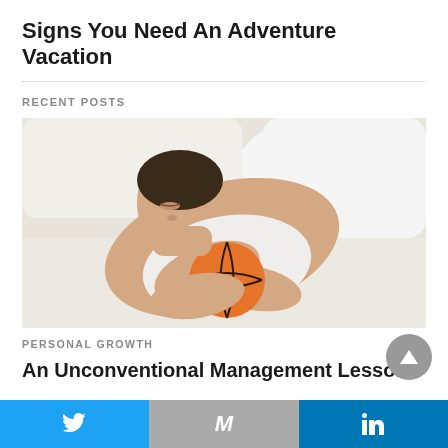Signs You Need An Adventure Vacation
RECENT POSTS
[Figure (photo): A man sleeping in a white bed while hugging a basketball]
PERSONAL GROWTH
An Unconventional Management Lesson
Twitter | M (Email) | LinkedIn